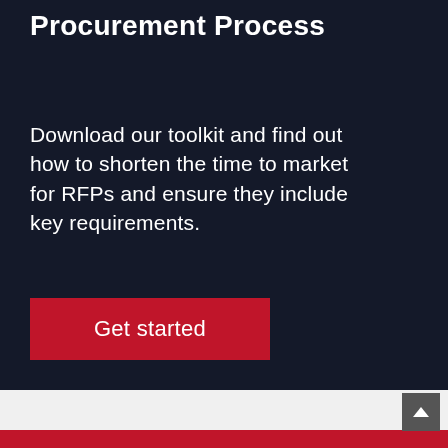Procurement Process
Download our toolkit and find out how to shorten the time to market for RFPs and ensure they include key requirements.
[Figure (other): Red 'Get started' call-to-action button on dark navy background]